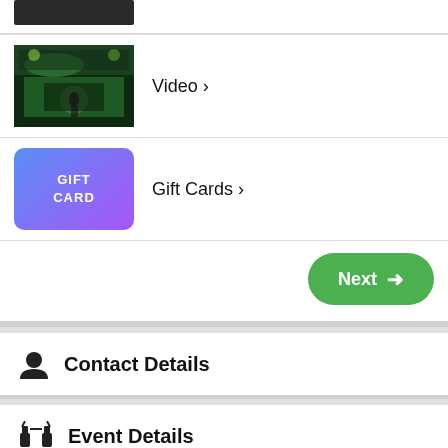[Figure (screenshot): Partial view of a product/category row with a dark thumbnail image (top clipped)]
Video ›
Gift Cards ›
Next →
Contact Details
Event Details
Tip
10%  15%  20%  Custom